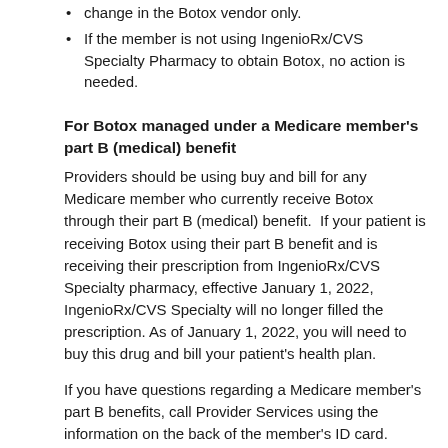change in the Botox vendor only.
If the member is not using IngenioRx/CVS Specialty Pharmacy to obtain Botox, no action is needed.
For Botox managed under a Medicare member's part B (medical) benefit
Providers should be using buy and bill for any Medicare member who currently receive Botox through their part B (medical) benefit.  If your patient is receiving Botox using their part B benefit and is receiving their prescription from IngenioRx/CVS Specialty pharmacy, effective January 1, 2022, IngenioRx/CVS Specialty will no longer filled the prescription. As of January 1, 2022, you will need to buy this drug and bill your patient's health plan.
If you have questions regarding a Medicare member's part B benefits, call Provider Services using the information on the back of the member's ID card.
For Botox managed under a Medicare member's part D (pharmacy) benefit